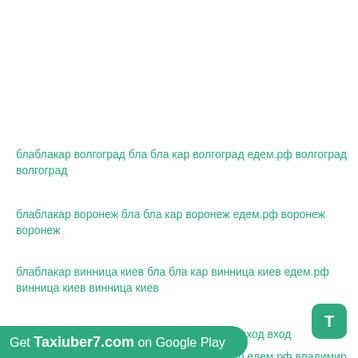блаблакар волгоград бла бла кар волгоград едем.рф волгоград волгоград
блаблакар воронеж бла бла кар воронеж едем.рф воронеж воронеж
блаблакар винница киев бла бла кар винница киев едем.рф винница киев винница киев
блаблакар вход бла бла кар вход едем.рф вход вход
блаблакар владимир бла бла кар владимир едем.рф владимир владимир
блаблакар владивосток бла бла кар владивосток едем.рф